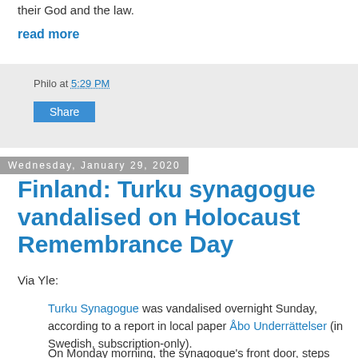their God and the law.
read more
Philo at 5:29 PM
Share
Wednesday, January 29, 2020
Finland: Turku synagogue vandalised on Holocaust Remembrance Day
Via Yle:
Turku Synagogue was vandalised overnight Sunday, according to a report in local paper Åbo Underrättelser (in Swedish, subscription-only).
On Monday morning, the synagogue's front door, steps and walls were found to have been